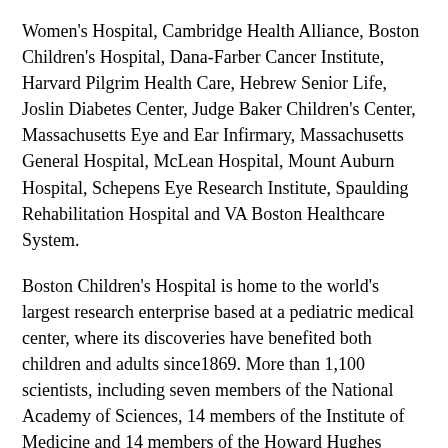Women's Hospital, Cambridge Health Alliance, Boston Children's Hospital, Dana-Farber Cancer Institute, Harvard Pilgrim Health Care, Hebrew Senior Life, Joslin Diabetes Center, Judge Baker Children's Center, Massachusetts Eye and Ear Infirmary, Massachusetts General Hospital, McLean Hospital, Mount Auburn Hospital, Schepens Eye Research Institute, Spaulding Rehabilitation Hospital and VA Boston Healthcare System.
Boston Children's Hospital is home to the world's largest research enterprise based at a pediatric medical center, where its discoveries have benefited both children and adults since1869. More than 1,100 scientists, including seven members of the National Academy of Sciences, 14 members of the Institute of Medicine and 14 members of the Howard Hughes Medical Institute comprise Boston Children's research community. Founded as a 20-bed hospital for children, Boston Children's today is a 395-bed